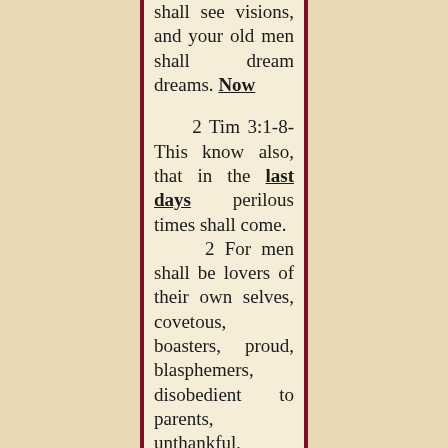shall see visions, and your old men shall dream dreams. Now
2 Tim 3:1-8- This know also, that in the last days perilous times shall come. 2 For men shall be lovers of their own selves, covetous, boasters, proud, blasphemers, disobedient to parents, unthankful, unholy, 3 Without natural affection,